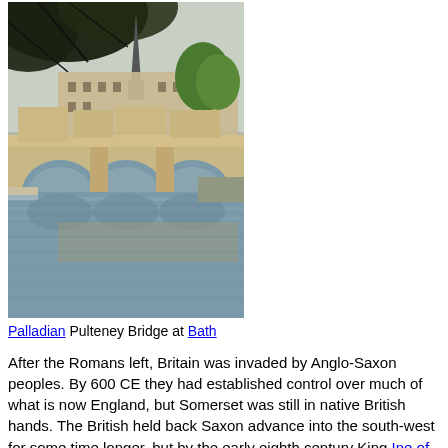[Figure (photo): Palladian Pulteney Bridge at Bath — a stone bridge with three arches reflected in the River Avon, with a church spire and Georgian buildings in the background, trees overhanging in the foreground.]
Palladian Pulteney Bridge at Bath
After the Romans left, Britain was invaded by Anglo-Saxon peoples. By 600 CE they had established control over much of what is now England, but Somerset was still in native British hands. The British held back Saxon advance into the south-west for some time longer, but by the early eighth century King Ine of Wessex had pushed the boundaries of the West Saxon kingdom far